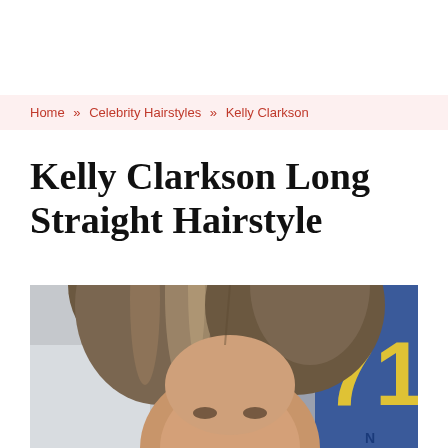Home » Celebrity Hairstyles » Kelly Clarkson
Kelly Clarkson Long Straight Hairstyle
[Figure (photo): Close-up photo of Kelly Clarkson showing her long straight hairstyle with highlights, looking slightly upward. Background shows a blue sign with the number 71.]